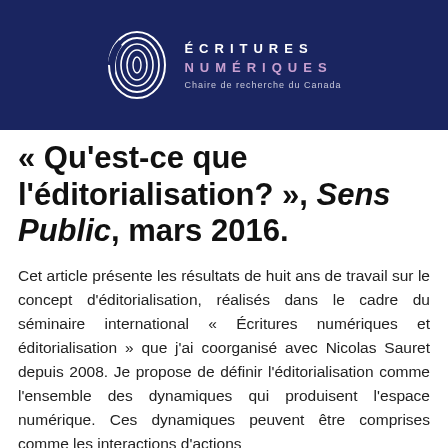ÉCRITURES NUMÉRIQUES — Chaire de recherche du Canada
« Qu'est-ce que l'éditorialisation? », Sens Public, mars 2016.
Cet article présente les résultats de huit ans de travail sur le concept d'éditorialisation, réalisés dans le cadre du séminaire international « Écritures numériques et éditorialisation » que j'ai coorganisé avec Nicolas Sauret depuis 2008. Je propose de définir l'éditorialisation comme l'ensemble des dynamiques qui produisent l'espace numérique. Ces dynamiques peuvent être comprises comme les interactions d'actions